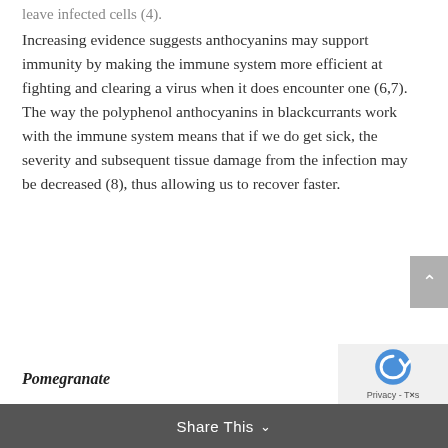leave infected cells (4).
Increasing evidence suggests anthocyanins may support immunity by making the immune system more efficient at fighting and clearing a virus when it does encounter one (6,7). The way the polyphenol anthocyanins in blackcurrants work with the immune system means that if we do get sick, the severity and subsequent tissue damage from the infection may be decreased (8), thus allowing us to recover faster.
Pomegranate
Share This